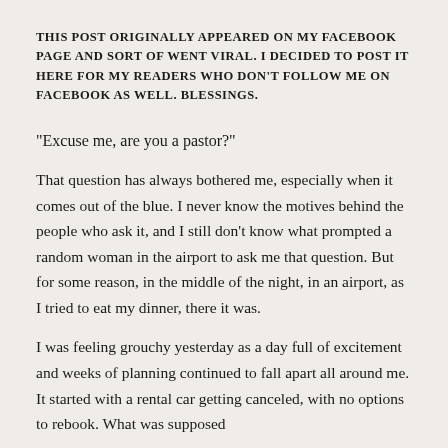THIS POST ORIGINALLY APPEARED ON MY FACEBOOK PAGE AND SORT OF WENT VIRAL. I DECIDED TO POST IT HERE FOR MY READERS WHO DON'T FOLLOW ME ON FACEBOOK AS WELL. BLESSINGS.
“Excuse me, are you a pastor?”
That question has always bothered me, especially when it comes out of the blue. I never know the motives behind the people who ask it, and I still don’t know what prompted a random woman in the airport to ask me that question. But for some reason, in the middle of the night, in an airport, as I tried to eat my dinner, there it was.
I was feeling grouchy yesterday as a day full of excitement and weeks of planning continued to fall apart all around me. It started with a rental car getting canceled, with no options to rebook. What was supposed